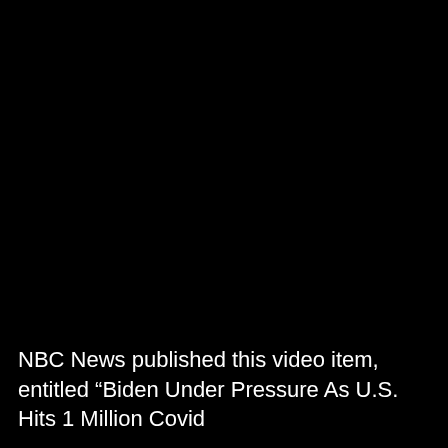[Figure (screenshot): Dark/black video thumbnail frame from NBC News video]
NBC News published this video item, entitled “Biden Under Pressure As U.S. Hits 1 Million Covid